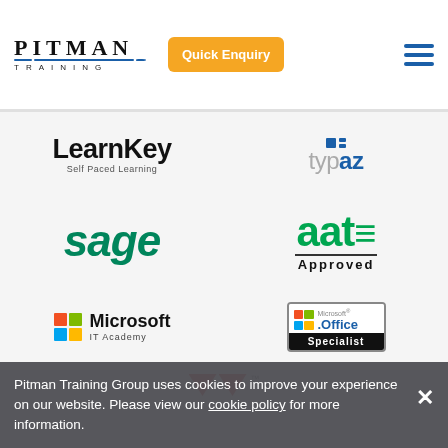Pitman Training | Quick Enquiry | Navigation menu
[Figure (logo): Pitman Training logo with blue underline]
[Figure (logo): Quick Enquiry orange button]
[Figure (logo): LearnKey Self Paced Learning logo]
[Figure (logo): typaz logo with blue icon]
[Figure (logo): sage green italic logo]
[Figure (logo): aat Approved logo in green]
[Figure (logo): Microsoft IT Academy logo with colored squares]
[Figure (logo): Microsoft Office Specialist badge]
[Figure (logo): Partial logo at bottom (red/white shape with TM)]
Pitman Training Group uses cookies to improve your experience on our website. Please view our cookie policy for more information.